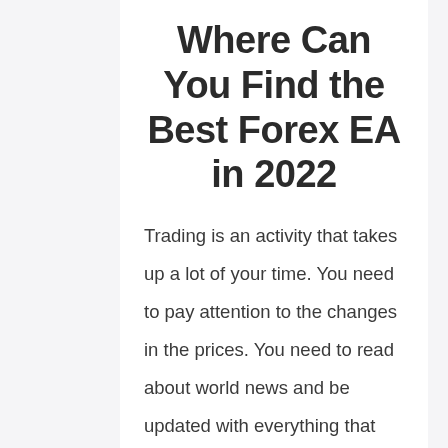Where Can You Find the Best Forex EA in 2022
Trading is an activity that takes up a lot of your time. You need to pay attention to the changes in the prices. You need to read about world news and be updated with everything that could have an impact on the trading market.